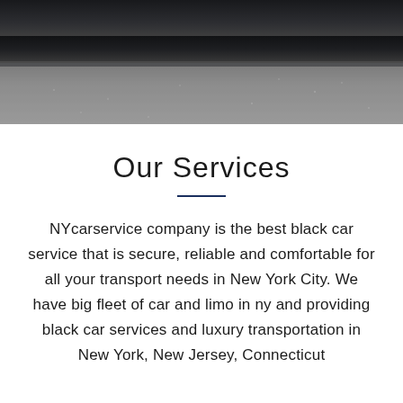[Figure (photo): Close-up photograph of a car's dark body panel and roof against a textured grey asphalt or concrete surface below]
Our Services
NYcarservice company is the best black car service that is secure, reliable and comfortable for all your transport needs in New York City. We have big fleet of car and limo in ny and providing black car services and luxury transportation in New York, New Jersey, Connecticut